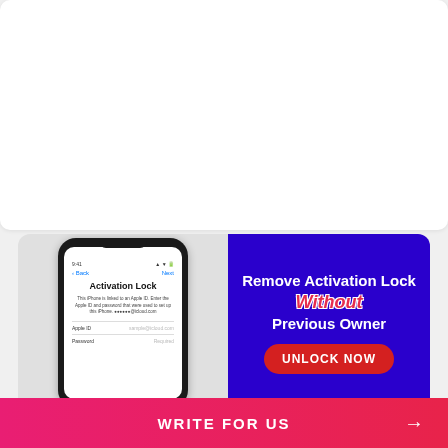SECURITY
What are The Most Secure Environments for App Development?
By: Micah James, Wed August 17, 2022
Developing an app is an exciting advancement. It is a great opportunity for..
[Figure (infographic): iPhone showing Activation Lock screen on left, and blue banner with 'Remove Activation Lock Without Previous Owner' and 'UNLOCK NOW' button on right]
WRITE FOR US →